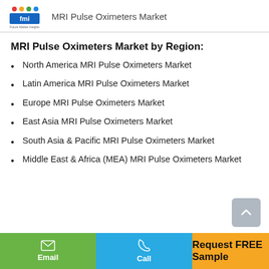MRI Pulse Oximeters Market
MRI Pulse Oximeters Market by Region:
North America MRI Pulse Oximeters Market
Latin America MRI Pulse Oximeters Market
Europe MRI Pulse Oximeters Market
East Asia MRI Pulse Oximeters Market
South Asia & Pacific MRI Pulse Oximeters Market
Middle East & Africa (MEA) MRI Pulse Oximeters Market
Email | Call | Request FREE Sample